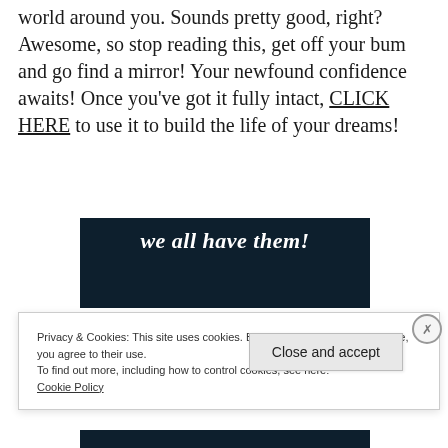world around you. Sounds pretty good, right? Awesome, so stop reading this, get off your bum and go find a mirror! Your newfound confidence awaits! Once you've got it fully intact, CLICK HERE to use it to build the life of your dreams!
[Figure (other): Dark navy banner with bold italic white text reading 'we all have them!']
Privacy & Cookies: This site uses cookies. By continuing to use this website, you agree to their use.
To find out more, including how to control cookies, see here:
Cookie Policy